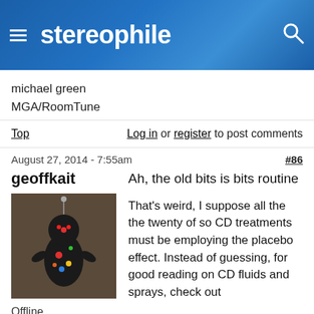stereophile
michael green MGA/RoomTune
Top   Log in or register to post comments
August 27, 2014 - 7:55am   #86
geoffkait
[Figure (photo): Avatar image of user geoffkait showing a voodoo doll-like figure made of dark material with colorful decorations]
Offline
Last seen: 6
Ah, the old bits is bits routine
That's weird, I suppose all the the twenty of so CD treatments must be employing the placebo effect. Instead of guessing, for good reading on CD fluids and sprays, check out